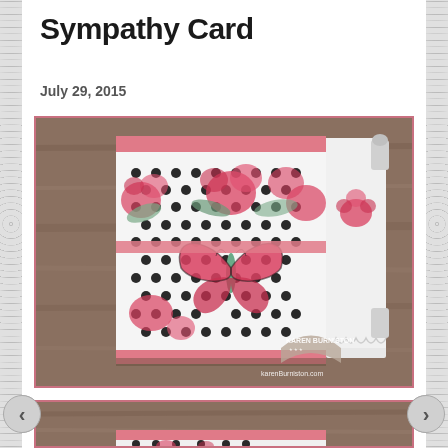Sympathy Card
July 29, 2015
[Figure (photo): A handmade sympathy card with black and white polka dot and pink floral patterned paper. A decorative butterfly die-cut embellishment is attached to the front. The card has a pink ribbon/stripe across the top and bottom. A decorative lace-edged panel is visible on the right side. The Karen Burniston logo watermark appears at the bottom right with karenBurniston.com text.]
[Figure (photo): Partial view of a second handmade card showing a wooden background and pink/floral elements at the bottom of the page.]